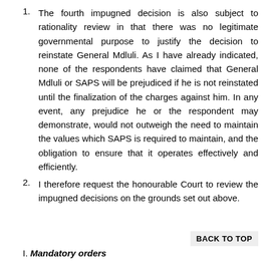The fourth impugned decision is also subject to rationality review in that there was no legitimate governmental purpose to justify the decision to reinstate General Mdluli. As I have already indicated, none of the respondents have claimed that General Mdluli or SAPS will be prejudiced if he is not reinstated until the finalization of the charges against him. In any event, any prejudice he or the respondent may demonstrate, would not outweigh the need to maintain the values which SAPS is required to maintain, and the obligation to ensure that it operates effectively and efficiently.
I therefore request the honourable Court to review the impugned decisions on the grounds set out above.
I. Mandatory orders